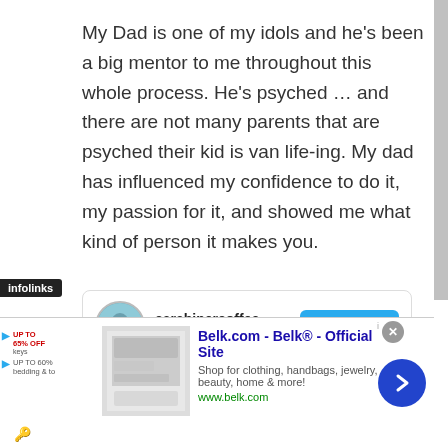My Dad is one of my idols and he's been a big mentor to me throughout this whole process. He's psyched … and there are not many parents that are psyched their kid is van life-ing. My dad has influenced my confidence to do it, my passion for it, and showed me what kind of person it makes you.
[Figure (screenshot): Social media profile card for carabinercoffee showing 26.1K followers and a View profile button, with a sky/cloud image strip below]
[Figure (screenshot): Infolinks badge overlay at bottom left]
[Figure (screenshot): Belk.com advertisement banner showing: Belk.com - Belk® - Official Site, Shop for clothing, handbags, jewelry, beauty, home & more!, www.belk.com]